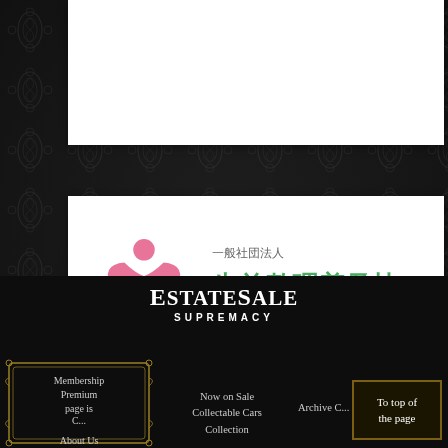[Figure (logo): Japanese organization logo: 一般社団法人 生前整理普及協会 with pink figure embracing green and purple hearts]
[Figure (logo): EstateSale Supremacy website logo and footer navigation with membership box, collectable cars collection link, archive link, and 'To top of the page' button]